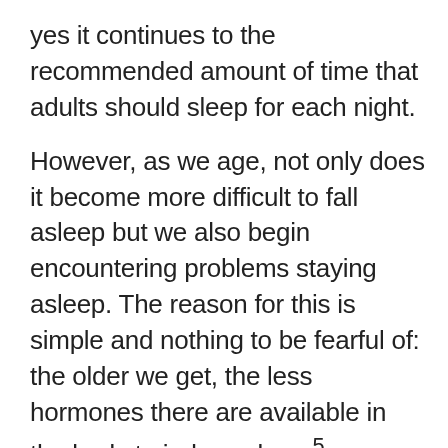yes it continues to the recommended amount of time that adults should sleep for each night.
However, as we age, not only does it become more difficult to fall asleep but we also begin encountering problems staying asleep. The reason for this is simple and nothing to be fearful of: the older we get, the less hormones there are available in the body to induce sleep.5 Melatonin, for instance, is a hormone that regulates our sleep and wake cycle. Those who are above the age of 65 usually have lowered melatonin production, which is why we tend to wake up earlier than expected and have a hard time getting back to sleep.5